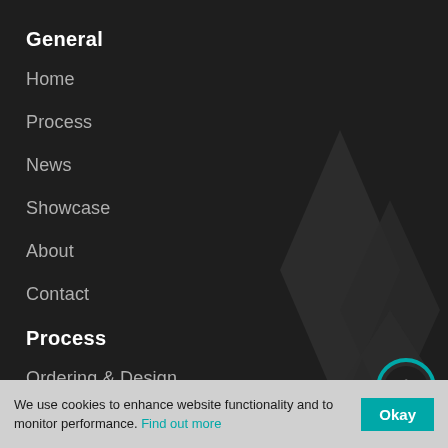General
Home
Process
News
Showcase
About
Contact
Process
Ordering & Design
We use cookies to enhance website functionality and to monitor performance. Find out more
Okay